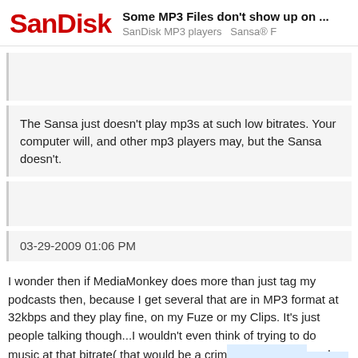SanDisk — Some MP3 Files don't show up on ... SanDisk MP3 players  Sansa® F
The Sansa just doesn't play mp3s at such low bitrates. Your computer will, and other mp3 players may, but the Sansa doesn't.
03-29-2009 01:06 PM
I wonder then if MediaMonkey does more than just tag my podcasts then, because I get several that are in MP3 format at 32kbps and they play fine, on my Fuze or my Clips. It's just people talking though...I wouldn't even think of trying to do music at that bitrate( that would be a crim and most of my podcasts are higher than :
9 / 15